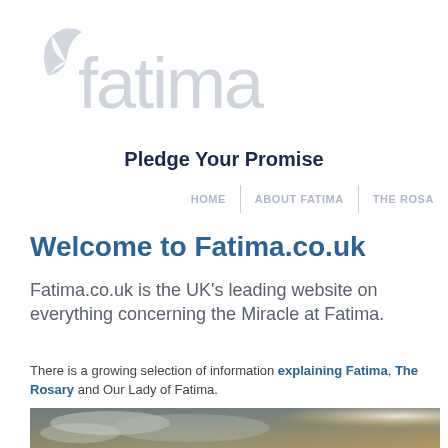[Figure (logo): Fatima.co.uk logo with stylized wing and 'fatima' text in light grey]
Pledge Your Promise
HOME | ABOUT FATIMA | THE ROSA
Welcome to Fatima.co.uk
Fatima.co.uk is the UK's leading website on everything concerning the Miracle at Fatima.
There is a growing selection of information explaining Fatima, The Rosary and Our Lady of Fatima.
[Figure (photo): Blurred atmospheric photo showing clouds and light, bottom of page]